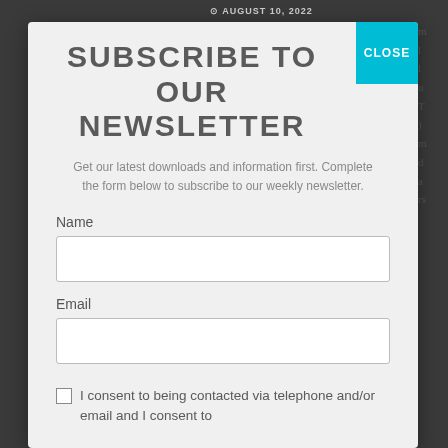AUGUST 10, 2022
SUBSCRIBE TO OUR NEWSLETTER
Get our latest downloads and information first. Complete the form below to subscribe to our weekly newsletter.
Name
Email
I consent to being contacted via telephone and/or email and I consent to